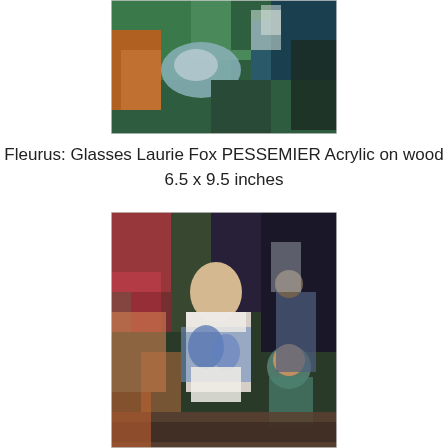[Figure (photo): Acrylic painting on wood showing abstract colorful scene with greens, blues, teal, orange and earthy tones — top portion of painting visible]
Fleurus: Glasses Laurie Fox PESSEMIER Acrylic on wood 6.5 x 9.5 inches
[Figure (photo): Acrylic painting on wood showing a figurative scene with a person in a white/blue outfit surrounded by colorful figures and objects, with dark background greens and purples]